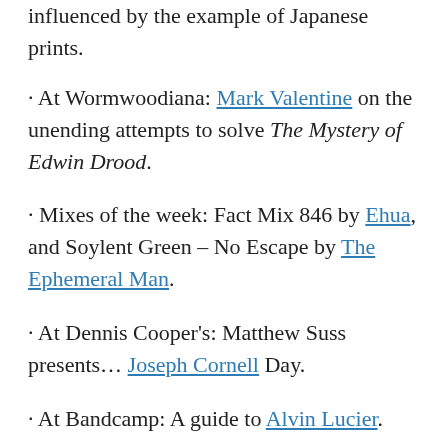influenced by the example of Japanese prints.
At Wormwoodiana: Mark Valentine on the unending attempts to solve The Mystery of Edwin Drood.
Mixes of the week: Fact Mix 846 by Ehua, and Soylent Green – No Escape by The Ephemeral Man.
At Dennis Cooper's: Matthew Suss presents… Joseph Cornell Day.
At Bandcamp: A guide to Alvin Lucier.
Loop The Loop (1980) by Young Marble Giants